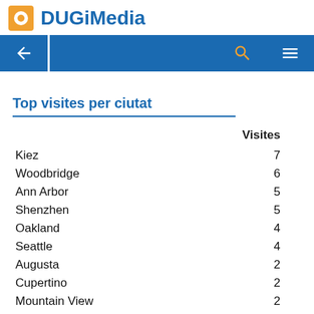DUGiMedia
Top visites per ciutat
|  | Visites |
| --- | --- |
| Kiez | 7 |
| Woodbridge | 6 |
| Ann Arbor | 5 |
| Shenzhen | 5 |
| Oakland | 4 |
| Seattle | 4 |
| Augusta | 2 |
| Cupertino | 2 |
| Mountain View | 2 |